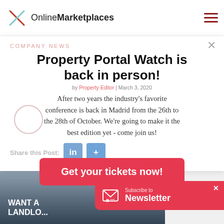OnlineMarketplaces
COMPANY NEWS
Property Portal Watch is back in person!
by Property Editor | March 3, 2020
After two years the industry's favorite conference is back in Madrid from the 26th to the 28th of October. We're going to make it the best edition yet - come join us!
Share this Post:
Get your tickets now!
Subscribe to Newsletter
[Figure (photo): Street-level building photograph with text overlay reading WANT A LANDLORD]